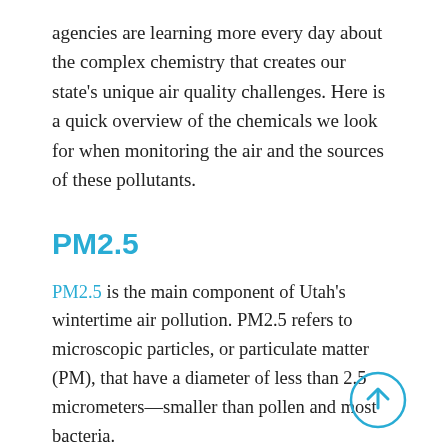agencies are learning more every day about the complex chemistry that creates our state's unique air quality challenges. Here is a quick overview of the chemicals we look for when monitoring the air and the sources of these pollutants.
PM2.5
PM2.5 is the main component of Utah's wintertime air pollution. PM2.5 refers to microscopic particles, or particulate matter (PM), that have a diameter of less than 2.5 micrometers—smaller than pollen and most bacteria.
During an inversion, temperatures increase with increasing altitude—the inverse of what normally
[Figure (other): Circular scroll-to-top button with upward arrow, light blue outline and arrow on white background]